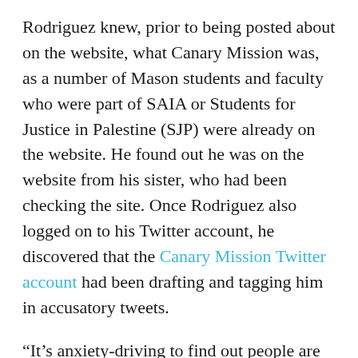Rodriguez knew, prior to being posted about on the website, what Canary Mission was, as a number of Mason students and faculty who were part of SAIA or Students for Justice in Palestine (SJP) were already on the website. He found out he was on the website from his sister, who had been checking the site. Once Rodriguez also logged on to his Twitter account, he discovered that the Canary Mission Twitter account had been drafting and tagging him in accusatory tweets.
“It’s anxiety-driving to find out people are looking to post about you and your stuff online, basically these [vulnerable] people to find,” Rodriguez